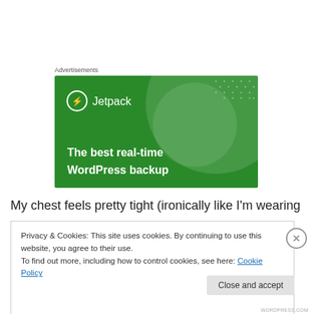Advertisements
[Figure (illustration): Jetpack advertisement banner with green background, circular decorative element, dot pattern, Jetpack logo with lightning bolt icon, and tagline 'The best real-time WordPress backup']
My chest feels pretty tight (ironically like I'm wearing a
Privacy & Cookies: This site uses cookies. By continuing to use this website, you agree to their use.
To find out more, including how to control cookies, see here: Cookie Policy
Close and accept